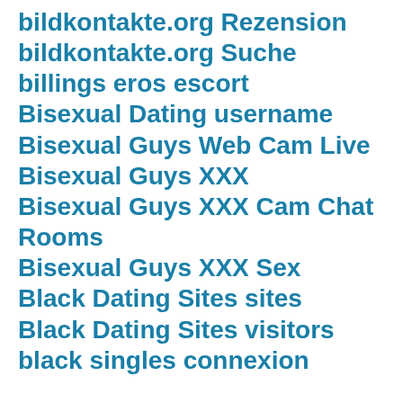bildkontakte.org Rezension
bildkontakte.org Suche
billings eros escort
Bisexual Dating username
Bisexual Guys Web Cam Live
Bisexual Guys XXX
Bisexual Guys XXX Cam Chat Rooms
Bisexual Guys XXX Sex
Black Dating Sites sites
Black Dating Sites visitors
black singles connexion